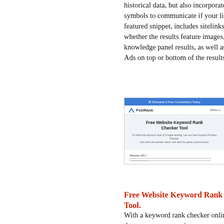historical data, but also incorporates symbols to communicate if your listing is a featured snippet, includes sitelinks and whether the results feature images, reviews, knowledge panel results, as well as Google Ads on top or bottom of the results.
[Figure (screenshot): Screenshot of the PosiRank Free Website Keyword Rank Checker Tool webpage, showing a blue header bar with 'Schedule A Free Consultation Today', navigation with PosiRank logo and MENU, a hero section with title 'Free Website Keyword Rank Checker Tool' and descriptive text, and a Website URL input field below.]
Free Website Keyword Rank Checker Tool.
With a keyword rank checker online means that you can even point your own clients to this page and they can run their own